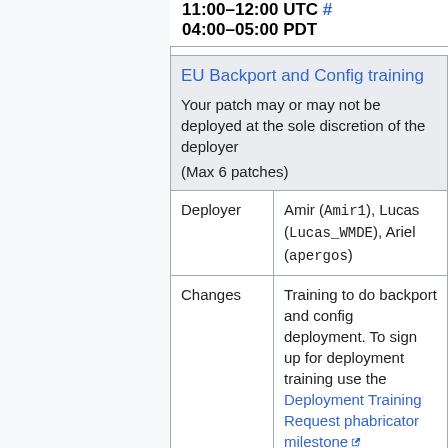11:00–12:00 UTC # / 04:00–05:00 PDT
| EU Backport and Config training
Your patch may or may not be deployed at the sole discretion of the deployer
(Max 6 patches) |
| Deployer | Amir (Amir1), Lucas (Lucas_WMDE), Ariel (apergos) |
| Changes | Training to do backport and config deployment. To sign up for deployment training use the Deployment Training Request phabricator milestone
Requesting Developer (irc-nickname)
• Gerrit link to backport or config change |